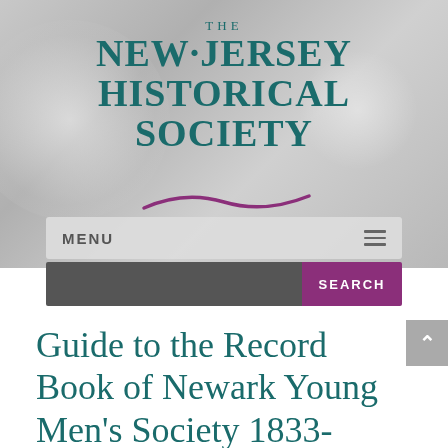[Figure (logo): The New Jersey Historical Society logo with teal serif text and purple swoosh decoration]
MENU
SEARCH
Guide to the Record Book of Newark Young Men's Society 1833-1838 MG 188